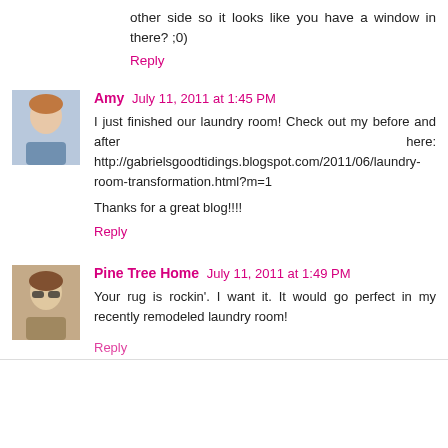other side so it looks like you have a window in there? ;0)
Reply
Amy  July 11, 2011 at 1:45 PM
I just finished our laundry room! Check out my before and after here: http://gabrielsgoodtidings.blogspot.com/2011/06/laundry-room-transformation.html?m=1

Thanks for a great blog!!!!
Reply
Pine Tree Home  July 11, 2011 at 1:49 PM
Your rug is rockin'. I want it. It would go perfect in my recently remodeled laundry room!
Reply